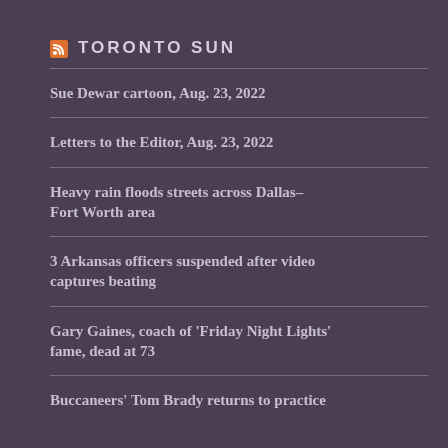TORONTO SUN
Sue Dewar cartoon, Aug. 23, 2022
Letters to the Editor, Aug. 23, 2022
Heavy rain floods streets across Dallas-Fort Worth area
3 Arkansas officers suspended after video captures beating
Gary Gaines, coach of 'Friday Night Lights' fame, dead at 73
Buccaneers' Tom Brady returns to practice